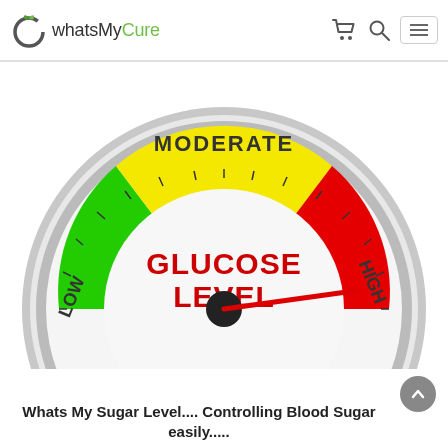whatsMyCure
[Figure (illustration): A glucose level gauge/meter showing a semicircular dial with color zones: green (LOW), yellow (MODERATE), and red (HIGH). The needle points toward the HIGH zone. The center of the dial reads 'GLUCOSE LEVEL' in red text.]
Whats My Sugar Level.... Controlling Blood Sugar easily.....